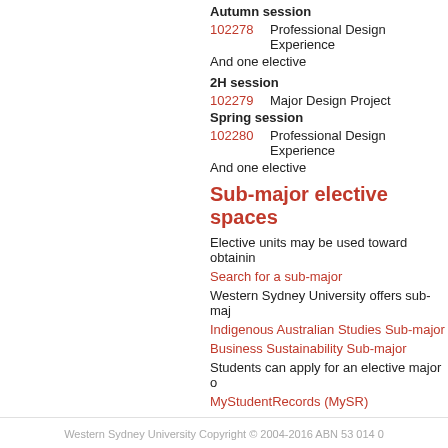Autumn session
102278    Professional Design Experience
And one elective
2H session
102279    Major Design Project
Spring session
102280    Professional Design Experience
And one elective
Sub-major elective spaces
Elective units may be used toward obtainin
Search for a sub-major
Western Sydney University offers sub-maj
Indigenous Australian Studies Sub-major
Business Sustainability Sub-major
Students can apply for an elective major o
MyStudentRecords (MySR)
Western Sydney University Copyright © 2004-2016 ABN 53 014 0